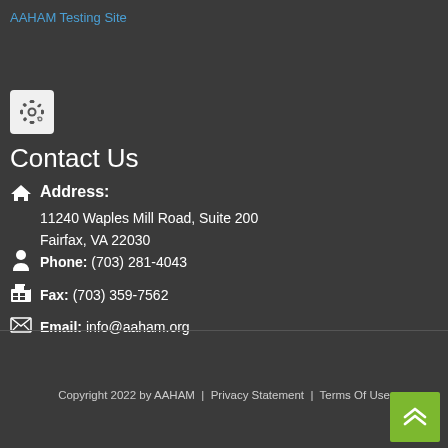AAHAM Testing Site
[Figure (other): Settings gear icon in a light gray rounded box]
Contact Us
Address: 11240 Waples Mill Road, Suite 200 Fairfax, VA 22030
Phone: (703) 281-4043
Fax: (703) 359-7562
Email: info@aaham.org
Copyright 2022 by AAHAM | Privacy Statement | Terms Of Use